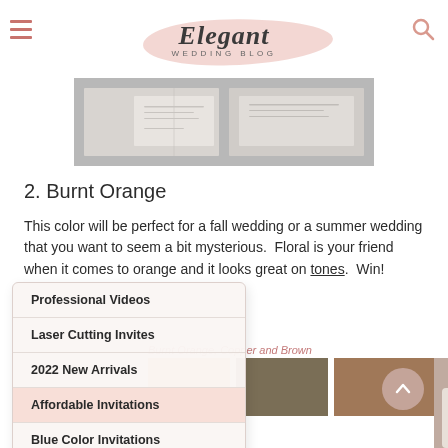Elegant WEDDING BLOG
[Figure (photo): Wedding invitation flatlay on gray background]
2. Burnt Orange
This color will be perfect for a fall wedding or a summer wedding that you want to seem a bit mysterious.  Floral is your friend when it comes to orange and it looks great on tones. Win!
Burnt Orange, Copper and Brown
[Figure (photo): Color swatches showing burnt orange, copper, and brown tones next to a bride photo]
Professional Videos
Laser Cutting Invites
2022 New Arrivals
Affordable Invitations
Blue Color Invitations
Burgundy Invitations